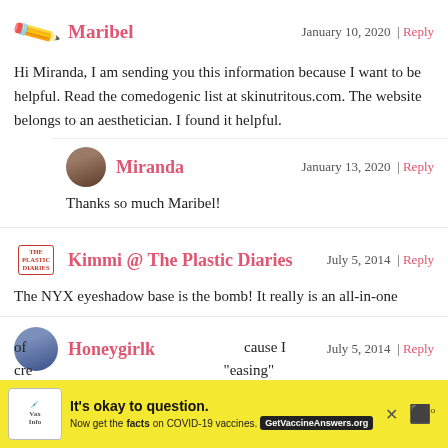Maribel — January 10, 2020 | Reply
Hi Miranda, I am sending you this information because I want to be helpful. Read the comedogenic list at skinutrious.com. The website belongs to an aesthetician. I found it helpful.
Miranda — January 13, 2020 | Reply
Thanks so much Maribel!
Kimmi @ The Plastic Diaries — July 5, 2014 | Reply
The NYX eyeshadow base is the bomb! It really is an all-in-one
Honeygirlk — July 5, 2014 | Reply
The Jordana 12 Hour Made to last is my jam. I'm working on my review for that coming up. Great list of products… I get asked
[Figure (screenshot): COVID-19 vaccine advertisement banner: 'It's okay to question. Now get the facts on COVID-19 vaccines. GetVaccineAnswers.org']